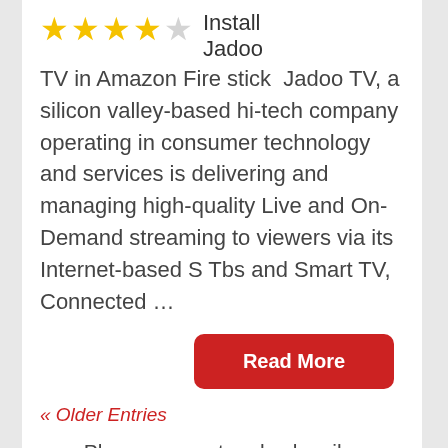[Figure (other): Four filled gold stars and one empty/outline star rating display, followed by inline title text 'Install Jadoo TV in Amazon Fire stick']
Install Jadoo TV in Amazon Fire stick  Jadoo TV, a silicon valley-based hi-tech company operating in consumer technology and services is delivering and managing high-quality Live and On-Demand streaming to viewers via its Internet-based S Tbs and Smart TV, Connected …
Read More
« Older Entries
Please support and subscribe